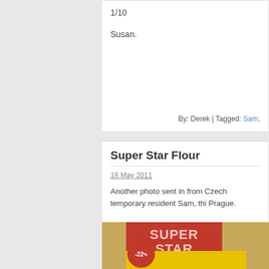1/10
Susan.
By: Derek | Tagged: Sam,
Super Star Flour
18 May 2011
Another photo sent in from Czech temporary resident Sam, thi Prague.
[Figure (photo): A supermarket promotional display sign showing 'SUPER STAR týdne' in large white text on a red background with a yellow starburst design, and a -22% discount circle in red.]